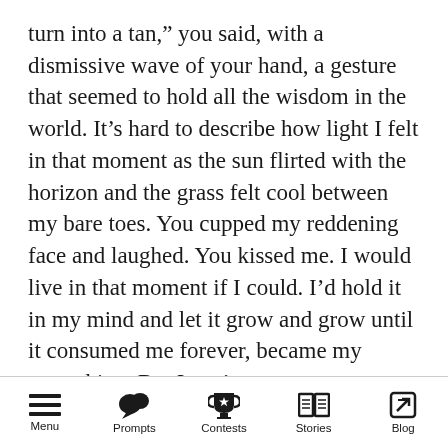turn into a tan,” you said, with a dismissive wave of your hand, a gesture that seemed to hold all the wisdom in the world. It’s hard to describe how light I felt in that moment as the sun flirted with the horizon and the grass felt cool between my bare toes. You cupped my reddening face and laughed. You kissed me. I would live in that moment if I could. I’d hold it in my mind and let it grow and grow until it consumed me forever, became my everything. But I can’t.

I should tell you, the tree I saw today is nothing like your favorite. It’s not in the Ramble surrounded by its kind, fighting below the canopy for discarded rays. It stands alone on a
Menu  Prompts  Contests  Stories  Blog